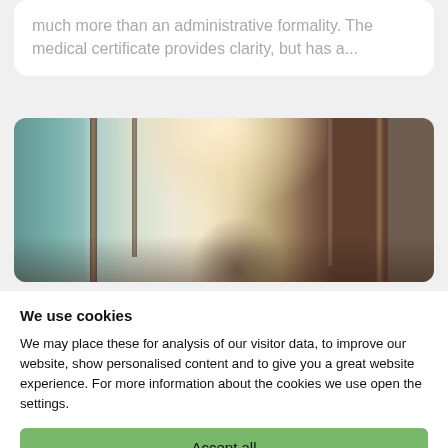much more than an administrative formality. The medical certificate provides clarity, but has a...
[Figure (photo): Interior hallway or corridor with wooden framing, frosted glass panels, and overhead lighting visible.]
We use cookies
We may place these for analysis of our visitor data, to improve our website, show personalised content and to give you a great website experience. For more information about the cookies we use open the settings.
Accept all
Deny
No, adjust